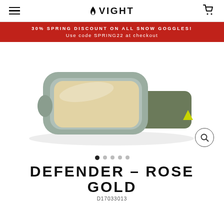VIGHT
30% SPRING DISCOUNT ON ALL SNOW GOGGLES! Use code SPRING22 at checkout
[Figure (photo): A ski/snow goggle with olive green frame and strap, gold mirrored lens, with 'vight' logo on the strap in yellow text. Image shown on white background.]
DEFENDER – ROSE GOLD
D17033013